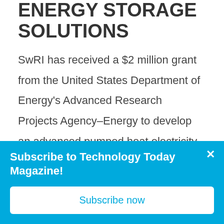ENERGY STORAGE SOLUTIONS
SwRI has received a $2 million grant from the United States Department of Energy's Advanced Research Projects Agency–Energy to develop an advanced pumped heat electricity storage system. This system offers twice the energy density of a lithium ion battery using an innovative
Subscribe to Technology Today Magazine!
Subscribe now